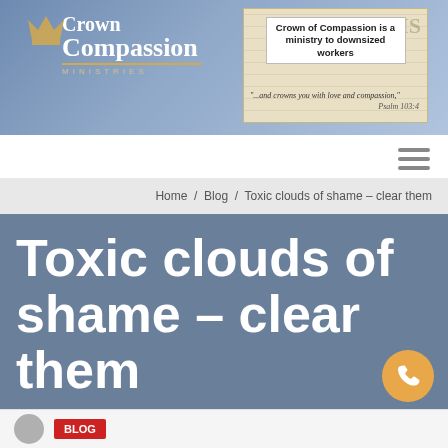Crown of Compassion Ministries — Crown of Compassion is a ministry to downsized workers — "...and crowns you with love and compassion," Psalm 103:4
Home / Blog / Toxic clouds of shame – clear them
Toxic clouds of shame – clear them
BLOG